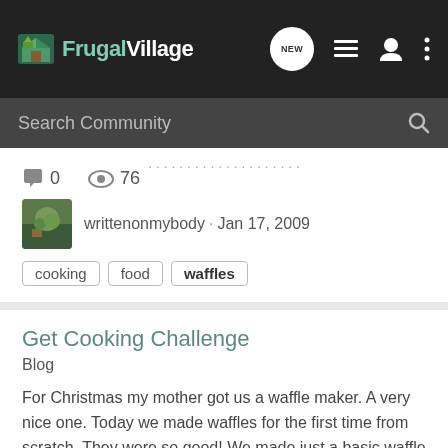FrugalVillage
Search Community
0  76
writtenonmybody · Jan 17, 2009
cooking  food  waffles
Get Cooking Challenge
Blog
For Christmas my mother got us a waffle maker. A very nice one. Today we made waffles for the first time from scratch. They were so good! We made just a basic waffle today but next time we'll do fancy fruit ones. So easy to make from scratch. Learned to do something new today. So easy...
1  73